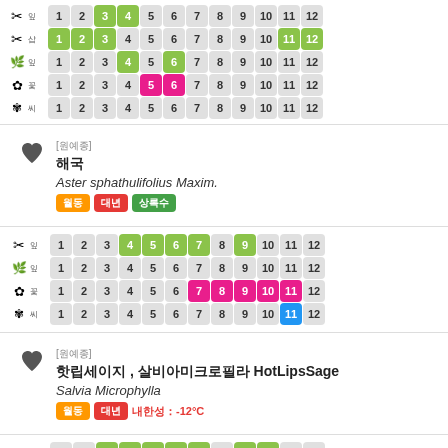| ✂ 잎 | 1 | 2 | 3(g) | 4(g) | 5 | 6 | 7 | 8 | 9 | 10 | 11 | 12 |
| ✂ 삽 | 1(g) | 2(g) | 3(g) | 4 | 5 | 6 | 7 | 8 | 9 | 10 | 11(g) | 12(g) |
| 🌿 잎 | 1 | 2 | 3 | 4(g) | 5 | 6(g) | 7 | 8 | 9 | 10 | 11 | 12 |
| ✿ 꽃 | 1 | 2 | 3 | 4 | 5(p) | 6(p) | 7 | 8 | 9 | 10 | 11 | 12 |
| ✾ 씨 | 1 | 2 | 3 | 4 | 5 | 6 | 7 | 8 | 9 | 10 | 11 | 12 |
[Figure (other): Heart/favorite icon]
[원예종] 해국 Aster sphathulifolius Maxim. 월동 대년 상록수
| ✂ 잎 | 1 | 2 | 3 | 4(g) | 5(g) | 6(g) | 7(g) | 8 | 9(g) | 10 | 11 | 12 |
| 🌿 잎 | 1 | 2 | 3 | 4 | 5 | 6 | 7 | 8 | 9 | 10 | 11 | 12 |
| ✿ 꽃 | 1 | 2 | 3 | 4 | 5 | 6 | 7(p) | 8(p) | 9(p) | 10(p) | 11(p) | 12 |
| ✾ 씨 | 1 | 2 | 3 | 4 | 5 | 6 | 7 | 8 | 9 | 10 | 11(b) | 12 |
[Figure (other): Heart/favorite icon]
[원예종] 핫립세이지 , 살비아미크로필라 HotLipsSage Salvia Microphylla 월동 대년 내한성：-12°C
| ✂ 잎 | 1 | 2 | 3(g) | 4(g) | 5(g) | 6(g) | 7(g) | 8 | 9(g) | 10(g) | 11 | 12 |
| 🌿 잎 | 1 | 2 | 3 | 4 | 5 | 6 | 7 | 8 | 9 | 10 | 11 | 12 |
| ✿ 꽃 | 1 | 2 | 3 | 4 | 5 | 6(p) | 7(p) | 8(p) | 9 | 10 | 11 | 12 |